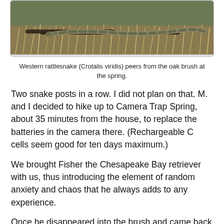[Figure (photo): Western rattlesnake (Crotalis viridis) peers from the oak brush at the spring. Photo shows a snake among dried grass and brush.]
Western rattlesnake (Crotalis viridis) peers from the oak brush at the spring.
Two snake posts in a row. I did not plan on that. M. and I decided to hike up to Camera Trap Spring, about 35 minutes from the house, to replace the batteries in the camera there. (Rechargeable C cells seem good for ten days maximum.)
We brought Fisher the Chesapeake Bay retriever with us, thus introducing the element of random anxiety and chaos that he always adds to any experience.
Once he disappeared into the brush and came back carrying some dog's squeaky toy. How did that get up on the ridge? Did a fox bring it up there?
At the spring, I was packing up the old batteries, etc., sitting on the ground, when M. started screaming at the dog.
I jumped up, saw that he was prancing around something by